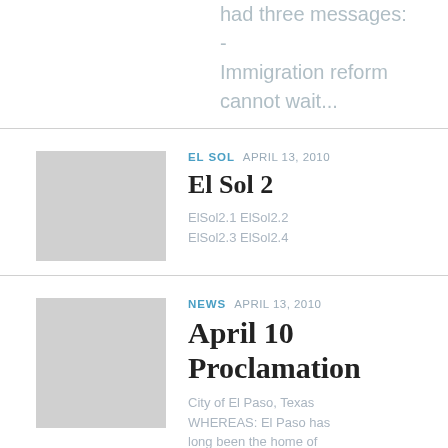had three messages: - Immigration reform cannot wait...
EL SOL  APRIL 13, 2010
[Figure (photo): Thumbnail placeholder image]
El Sol 2
ElSol2.1 ElSol2.2 ElSol2.3 ElSol2.4
NEWS  APRIL 13, 2010
[Figure (photo): Thumbnail placeholder image]
April 10 Proclamation
City of El Paso, Texas WHEREAS: El Paso has long been the home of